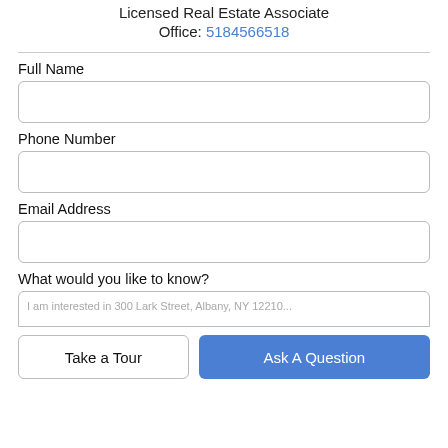Licensed Real Estate Associate
Office: 5184566518
Full Name
Phone Number
Email Address
What would you like to know?
I am interested in 300 Lark Street, Albany, NY 12210...
Take a Tour
Ask A Question